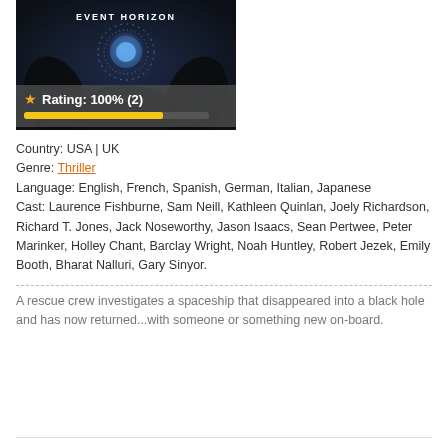[Figure (photo): Movie poster for Event Horizon with dark background showing hands and a glowing orb with text 'EVENT HORIZON', includes a rating overlay showing Rating: 100% (2) with an orange star and yellow progress bar]
Country: USA | UK
Genre: Thriller
Language: English, French, Spanish, German, Italian, Japanese
Cast: Laurence Fishburne, Sam Neill, Kathleen Quinlan, Joely Richardson, Richard T. Jones, Jack Noseworthy, Jason Isaacs, Sean Pertwee, Peter Marinker, Holley Chant, Barclay Wright, Noah Huntley, Robert Jezek, Emily Booth, Bharat Nalluri, Gary Sinyor.
A rescue crew investigates a spaceship that disappeared into a black hole and has now returned...with someone or something new on-board.
READ MORE / DOWNLOAD